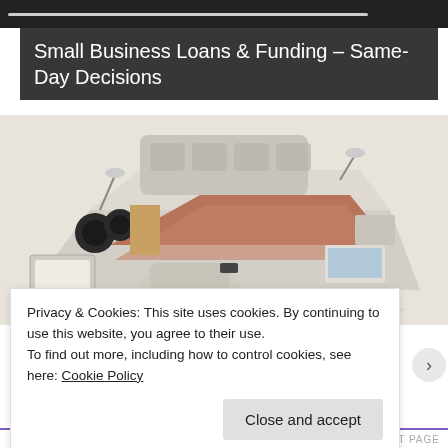[Figure (screenshot): Video player top bar with progress bar/scrubber on dark background]
Small Business Loans & Funding – Same-Day Decisions
[Figure (photo): A luxury smart bed with speakers, massage chair, storage drawers, reading lamps, and a laptop on a tray. Cream/beige leather with brown bedding.]
Privacy & Cookies: This site uses cookies. By continuing to use this website, you agree to their use.
To find out more, including how to control cookies, see here: Cookie Policy
Close and accept